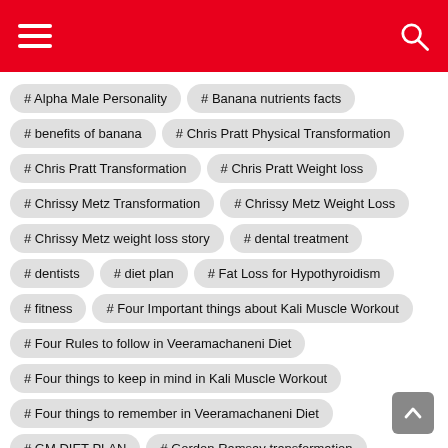Navigation header with hamburger menu and search icon
# Alpha Male Personality
# Banana nutrients facts
# benefits of banana
# Chris Pratt Physical Transformation
# Chris Pratt Transformation
# Chris Pratt Weight loss
# Chrissy Metz Transformation
# Chrissy Metz Weight Loss
# Chrissy Metz weight loss story
# dental treatment
# dentists
# diet plan
# Fat Loss for Hypothyroidism
# fitness
# Four Important things about Kali Muscle Workout
# Four Rules to follow in Veeramachaneni Diet
# Four things to keep in mind in Kali Muscle Workout
# Four things to remember in Veeramachaneni Diet
# GM DIET PLAN
# Gordon Ramsay transformation
# Gordon Ramsay weight loss